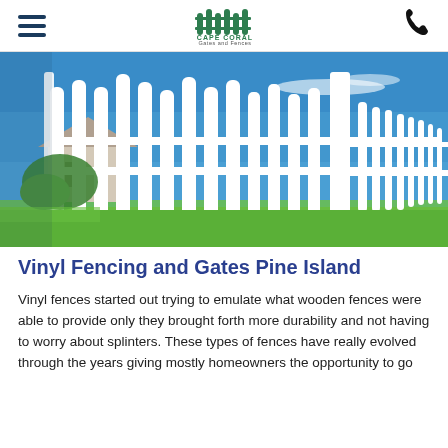Cape Coral Gates and Fences
[Figure (photo): White vinyl picket fence stretching into the distance, with green grass below and a bright blue sky above. A house is visible in the background on the left.]
Vinyl Fencing and Gates Pine Island
Vinyl fences started out trying to emulate what wooden fences were able to provide only they brought forth more durability and not having to worry about splinters. These types of fences have really evolved through the years giving mostly homeowners the opportunity to go